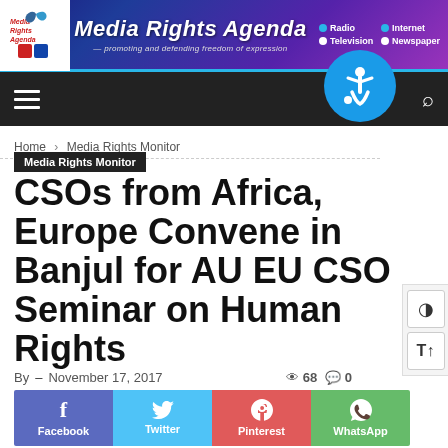[Figure (logo): Media Rights Agenda website header banner with logo, site name, tagline, and navigation links for Radio, Internet, Television, Newspaper]
Media Rights Agenda — promoting and defending freedom of expression
Home › Media Rights Monitor
Media Rights Monitor
CSOs from Africa, Europe Convene in Banjul for AU EU CSO Seminar on Human Rights
By  –  November 17, 2017   👁 68   💬 0
[Figure (infographic): Social sharing buttons: Facebook, Twitter, Pinterest, WhatsApp]